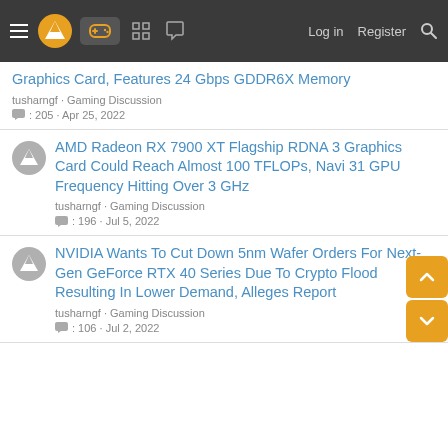Navigation bar with logo, gaming icon, and Log in / Register links
Graphics Card, Features 24 Gbps GDDR6X Memory
tusharngf · Gaming Discussion
: 205 · Apr 25, 2022
AMD Radeon RX 7900 XT Flagship RDNA 3 Graphics Card Could Reach Almost 100 TFLOPs, Navi 31 GPU Frequency Hitting Over 3 GHz
tusharngf · Gaming Discussion
: 196 · Jul 5, 2022
NVIDIA Wants To Cut Down 5nm Wafer Orders For Next-Gen GeForce RTX 40 Series Due To Crypto Flood Resulting In Lower Demand, Alleges Report
tusharngf · Gaming Discussion
: 106 · Jul 2, 2022